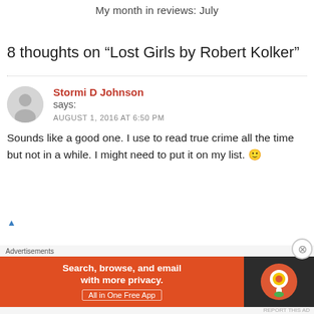My month in reviews: July
8 thoughts on “Lost Girls by Robert Kolker”
Stormi D Johnson says:
AUGUST 1, 2016 AT 6:50 PM
Sounds like a good one. I use to read true crime all the time but not in a while. I might need to put it on my list. 🙂
Advertisements
[Figure (screenshot): DuckDuckGo advertisement banner: orange background with text 'Search, browse, and email with more privacy. All in One Free App' and DuckDuckGo duck logo on dark background]